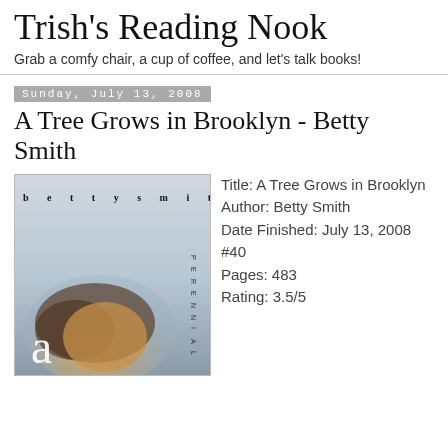Trish's Reading Nook
Grab a comfy chair, a cup of coffee, and let's talk books!
Sunday, July 13, 2008
A Tree Grows in Brooklyn - Betty Smith
[Figure (photo): Book cover of A Tree Grows in Brooklyn by Betty Smith, showing a child's face with the author name 'betty smith' spread across the top and 'a' in large text on the lower left, with 'PERENNIAL' written vertically on the right side.]
Title: A Tree Grows in Brooklyn Author: Betty Smith Date Finished: July 13, 2008 #40 Pages: 483 Rating: 3.5/5